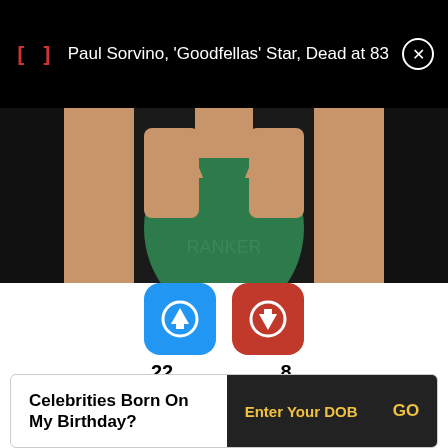Paul Sorvino, 'Goodfellas' Star, Dead at 83
[Figure (photo): Photo of a person wearing a green dress, torso visible]
[Figure (infographic): Upvote button (blue, 22) and downvote button (red, 8)]
Listed In: Film & Theater Personalities
Birthdate: April 3, 1985
Sun Sign: Aries
Celebrities Born On My Birthday? Enter Your DOB GO